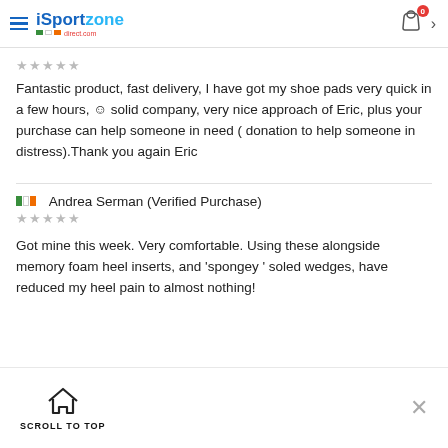Sportzone direct.com
★★★★★
Fantastic product, fast delivery, I have got my shoe pads very quick in a few hours, ☺ solid company, very nice approach of Eric, plus your purchase can help someone in need ( donation to help someone in distress).Thank you again Eric
🇮🇪  Andrea Serman (Verified Purchase)
★★★★★
Got mine this week. Very comfortable. Using these alongside memory foam heel inserts, and 'spongey ' soled wedges, have reduced my heel pain to almost nothing!
[Figure (infographic): Scroll to top button with house icon and close X button in bottom bar]